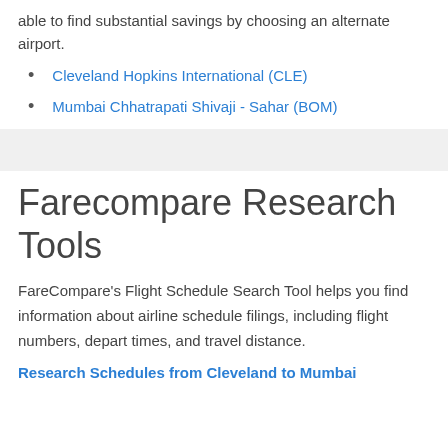able to find substantial savings by choosing an alternate airport.
Cleveland Hopkins International (CLE)
Mumbai Chhatrapati Shivaji - Sahar (BOM)
Farecompare Research Tools
FareCompare's Flight Schedule Search Tool helps you find information about airline schedule filings, including flight numbers, depart times, and travel distance.
Research Schedules from Cleveland to Mumbai